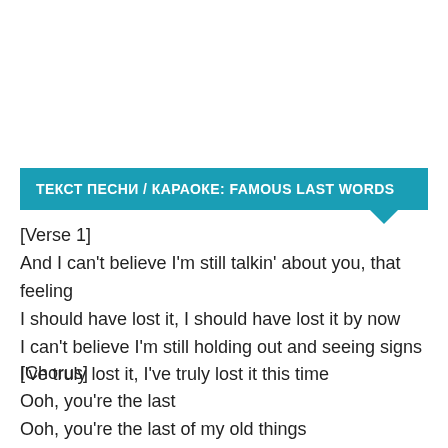ТЕКСТ ПЕСНИ / КАРАОКЕ: FAMOUS LAST WORDS
[Verse 1]
And I can't believe I'm still talkin' about you, that feeling
I should have lost it, I should have lost it by now
I can't believe I'm still holding out and seeing signs
I've truly lost it, I've truly lost it this time
[Chorus]
Ooh, you're the last
Ooh, you're the last of my old things
Ooh, the cast from my broken limbs